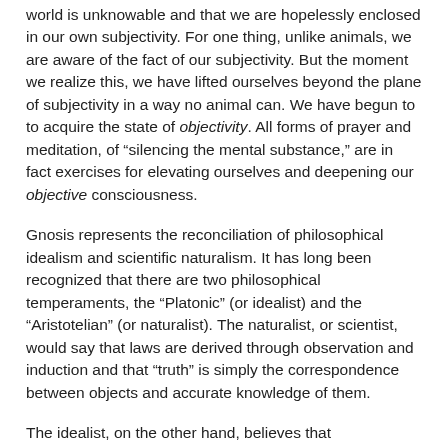world is unknowable and that we are hopelessly enclosed in our own subjectivity. For one thing, unlike animals, we are aware of the fact of our subjectivity. But the moment we realize this, we have lifted ourselves beyond the plane of subjectivity in a way no animal can. We have begun to to acquire the state of objectivity. All forms of prayer and meditation, of “silencing the mental substance,” are in fact exercises for elevating ourselves and deepening our objective consciousness.
Gnosis represents the reconciliation of philosophical idealism and scientific naturalism. It has long been recognized that there are two philosophical temperaments, the “Platonic” (or idealist) and the “Aristotelian” (or naturalist). The naturalist, or scientist, would say that laws are derived through observation and induction and that “truth” is simply the correspondence between objects and accurate knowledge of them.
The idealist, on the other hand, believes that consciousness is prior to every “thing,” and that the world is a reflection of the intellect, or “ideas.” Another way of saying it is that for the